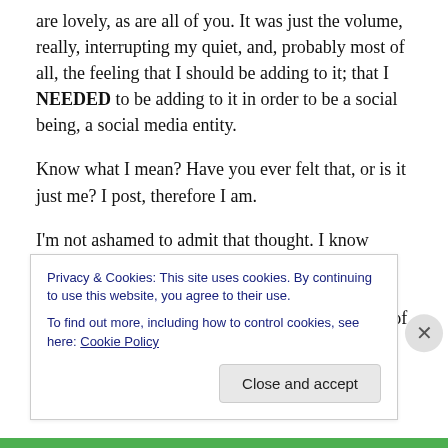are lovely, as are all of you. It was just the volume, really, interrupting my quiet, and, probably most of all, the feeling that I should be adding to it; that I NEEDED to be adding to it in order to be a social being, a social media entity.
Know what I mean? Have you ever felt that, or is it just me? I post, therefore I am.
I'm not ashamed to admit that thought. I know where it started, where the whole Facebook love thing started for me. Introvert in a noisy world. Taught to wait my turn to speak. Know the value of listening to others. Babies in
Privacy & Cookies: This site uses cookies. By continuing to use this website, you agree to their use.
To find out more, including how to control cookies, see here: Cookie Policy